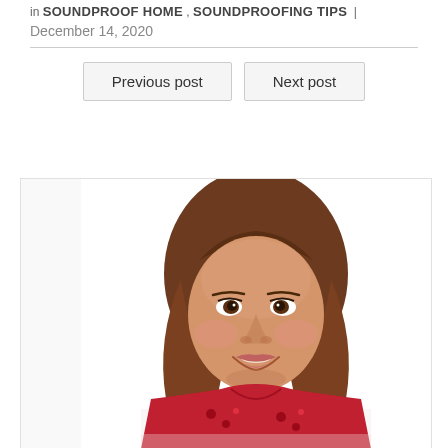in SOUNDPROOF HOME , SOUNDPROOFING TIPS |
December 14, 2020
Previous post
Next post
[Figure (photo): Portrait photo of a smiling woman with brown shoulder-length hair wearing a red floral top, photographed against a white background with a soft reflection below]